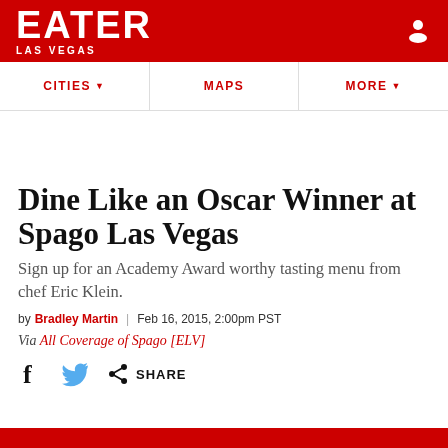EATER LAS VEGAS
CITIES ▾   MAPS   MORE ▾
Dine Like an Oscar Winner at Spago Las Vegas
Sign up for an Academy Award worthy tasting menu from chef Eric Klein.
by Bradley Martin | Feb 16, 2015, 2:00pm PST
Via All Coverage of Spago [ELV]